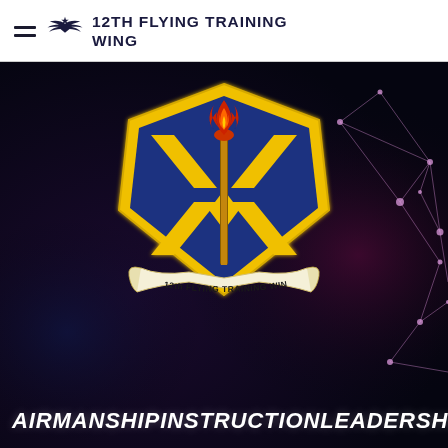12TH FLYING TRAINING WING
[Figure (logo): 12th Flying Training Wing emblem/badge on dark background with network graphic lines and dots on the right side. Badge features blue shield with gold X design, torch with red flame, and scroll reading '12th Flying Training WING'. Three words below: AIRMANSHIP, INSTRUCTION, LEADERSHIP.]